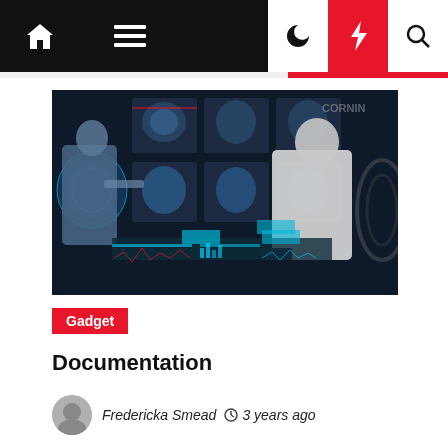Navigation bar with home, menu, moon, bolt, and search icons
[Figure (photo): Two doctors in a high-tech medical imaging room with brain MRI scans displayed on large screens. One doctor in blue scrubs is pointing at holographic brain imagery while another in a white coat looks on thoughtfully.]
Gadget
Documentation
Fredericka Smead  3 years ago